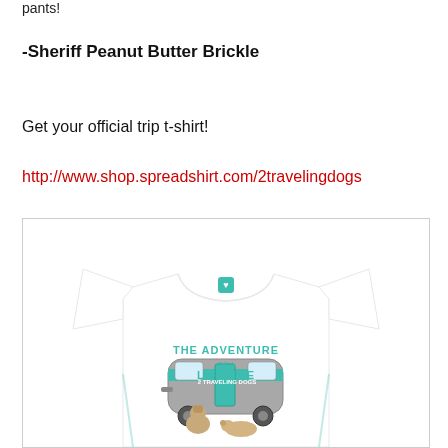pants!
-Sheriff Peanut Butter Brickle
Get your official trip t-shirt!
http://www.shop.spreadshirt.com/2travelingdogs
[Figure (photo): A white t-shirt with a teal design showing a vintage camper trailer and two dogs, with text reading 'The Adventure of a Lifetime' and '2 Traveling Dogs']